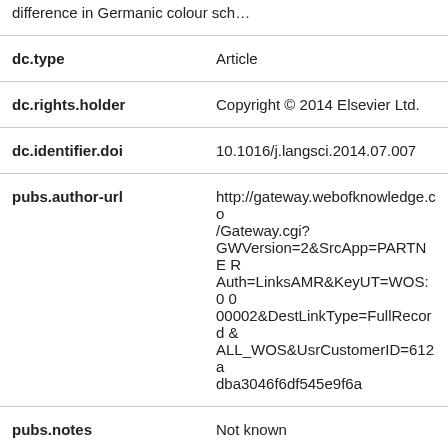| …difference in Germanic colour sch… |  |
| dc.type | Article |
| dc.rights.holder | Copyright © 2014 Elsevier Ltd. |
| dc.identifier.doi | 10.1016/j.langsci.2014.07.007 |
| pubs.author-url | http://gateway.webofknowledge.co/Gateway.cgi?GWVersion=2&SrcApp=PARTNERAuth=LinksAMR&KeyUT=WOS:0000002&DestLinkType=FullRecordALL_WOS&UsrCustomerID=612adba3046f6df545e9f6a |
| pubs.notes | Not known |
| pubs.publication-status | Published |